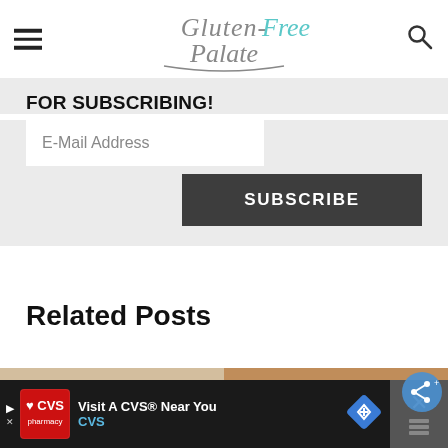Gluten-Free Palate
FOR SUBSCRIBING!
E-Mail Address
SUBSCRIBE
Related Posts
[Figure (photo): Food photo on the left showing a bowl with colorful ingredients]
[Figure (photo): Food photo on the right showing baked pastry items]
Visit A CVS® Near You CVS